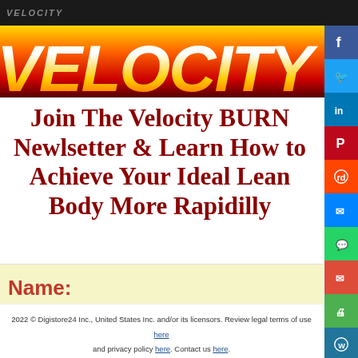VELOCITY
[Figure (logo): Velocity BURN logo in red/orange/yellow gradient italic bold font]
Join The Velocity BURN Newlsetter & Learn How to Achieve Your Ideal Lean Body More Rapidilly
Name:
2022 © Digistore24 Inc., United States Inc. and/or its licensors. Review legal terms of use here and privacy policy here. Contact us here.